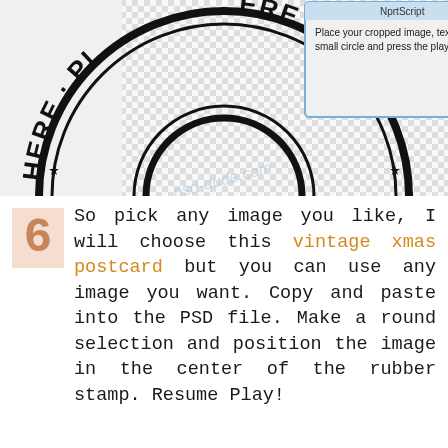[Figure (screenshot): A rubber stamp graphic showing 'PLACE HERE' text around a circular border with stars, partially visible. In the center/upper area is a dialog box with text: 'Place your cropped image, text, logo, shape inside the small circle and press the play button again!' with a 'Stop' button. The background shows a checkered transparency pattern.]
6 So pick any image you like, I will choose this vintage xmas postcard but you can use any image you want. Copy and paste into the PSD file. Make a round selection and position the image in the center of the rubber stamp. Resume Play!